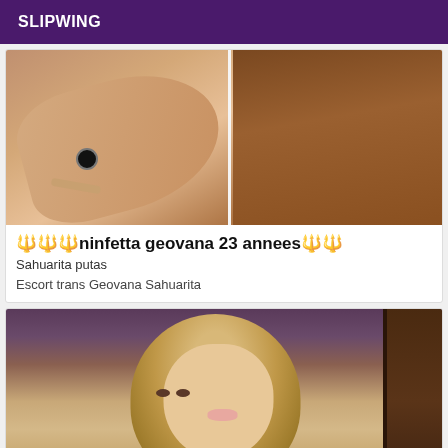SLIPWING
[Figure (photo): Close-up photo of person with tattoo and hand with ring, split into two panels]
🔱🔱🔱ninfetta geovana 23 annees🔱🔱
Sahuarita putas
Escort trans Geovana Sahuarita
[Figure (photo): Photo of a woman with long blonde hair looking at camera, with dark door frame on right]